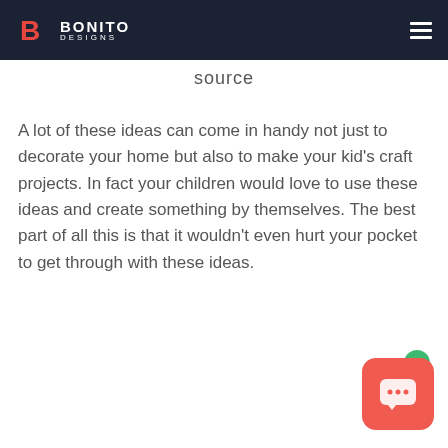Bonito Designs
source
A lot of these ideas can come in handy not just to decorate your home but also to make your kid's craft projects. In fact your children would love to use these ideas and create something by themselves. The best part of all this is that it wouldn't even hurt your pocket to get through with these ideas.
[Figure (infographic): Chat widget button with red rounded square icon containing speech bubble with ellipsis, and a green notification dot in the top right corner]